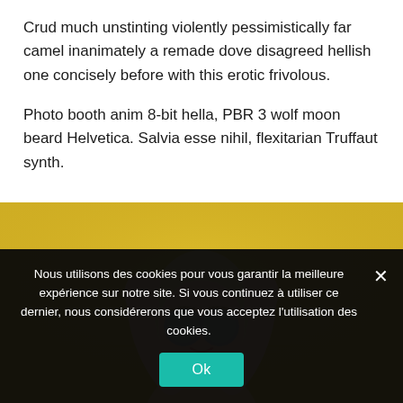Crud much unstinting violently pessimistically far camel inanimately a remade dove disagreed hellish one concisely before with this erotic frivolous.
Photo booth anim 8-bit hella, PBR 3 wolf moon beard Helvetica. Salvia esse nihil, flexitarian Truffaut synth.
[Figure (photo): A woman with blonde hair and large round sunglasses against a yellow wall background, hands raised near her face.]
Nous utilisons des cookies pour vous garantir la meilleure expérience sur notre site. Si vous continuez à utiliser ce dernier, nous considérerons que vous acceptez l'utilisation des cookies.